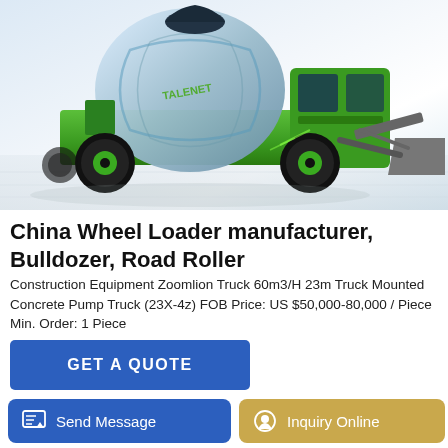[Figure (photo): Green TALENET concrete mixer truck / self-loading concrete mixer with large blue drum, front bucket loader attachment, black tires with green rims, on a light grey/white studio background.]
China Wheel Loader manufacturer, Bulldozer, Road Roller
Construction Equipment Zoomlion Truck 60m3/H 23m Truck Mounted Concrete Pump Truck (23X-4z) FOB Price: US $50,000-80,000 / Piece Min. Order: 1 Piece
GET A QUOTE
[Figure (photo): Partial view of another green construction vehicle/equipment peeking at the bottom of the page.]
Send Message
Inquiry Online